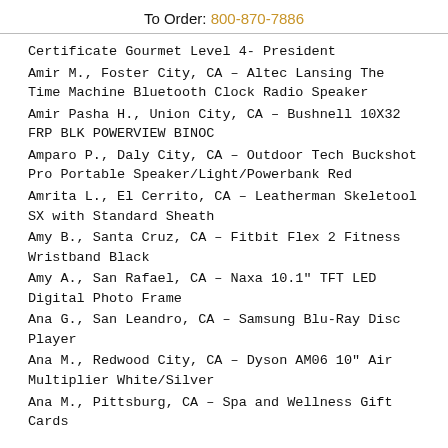To Order: 800-870-7886
Certificate Gourmet Level 4- President
Amir M., Foster City, CA - Altec Lansing The Time Machine Bluetooth Clock Radio Speaker
Amir Pasha H., Union City, CA - Bushnell 10X32 FRP BLK POWERVIEW BINOC
Amparo P., Daly City, CA - Outdoor Tech Buckshot Pro Portable Speaker/Light/Powerbank Red
Amrita L., El Cerrito, CA - Leatherman Skeletool SX with Standard Sheath
Amy B., Santa Cruz, CA - Fitbit Flex 2 Fitness Wristband Black
Amy A., San Rafael, CA - Naxa 10.1" TFT LED Digital Photo Frame
Ana G., San Leandro, CA - Samsung Blu-Ray Disc Player
Ana M., Redwood City, CA - Dyson AM06 10" Air Multiplier White/Silver
Ana M., Pittsburg, CA - Spa and Wellness Gift Cards